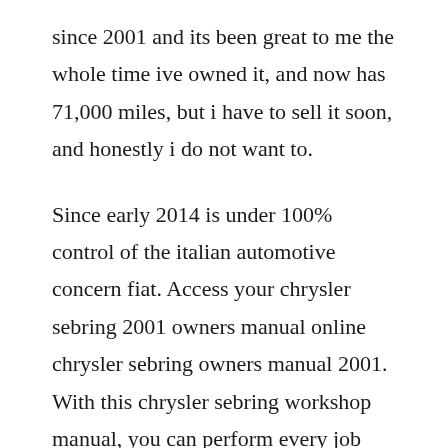since 2001 and its been great to me the whole time ive owned it, and now has 71,000 miles, but i have to sell it soon, and honestly i do not want to.
Since early 2014 is under 100% control of the italian automotive concern fiat. Access your chrysler sebring 2001 owners manual online chrysler sebring owners manual 2001. With this chrysler sebring workshop manual, you can perform every job that could be done by chrysler garages and mechanics from. We have 100 2007 chrysler sebring vehicles for